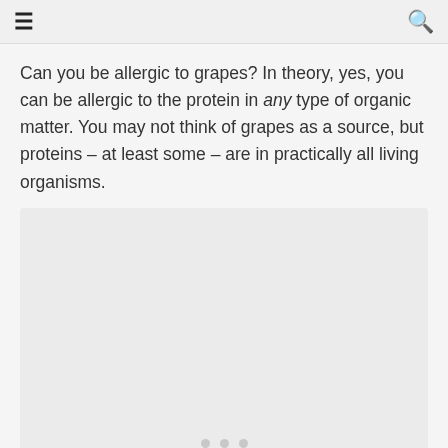≡  🔍
Can you be allergic to grapes? In theory, yes, you can be allergic to the protein in any type of organic matter. You may not think of grapes as a source, but proteins – at least some – are in practically all living organisms.
[Figure (photo): Image placeholder with three dots indicating a slideshow or carousel, light gray background]